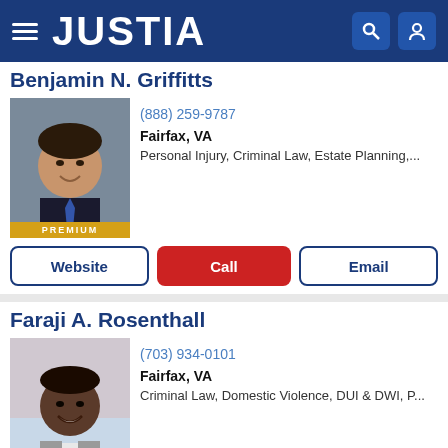JUSTIA
Benjamin N. Griffitts
[Figure (photo): Professional headshot of Benjamin N. Griffitts, a man in a dark suit with a blue tie, smiling]
(888) 259-9787
Fairfax, VA
Personal Injury, Criminal Law, Estate Planning,...
PREMIUM
Website | Call | Email
Faraji A. Rosenthall
[Figure (photo): Professional headshot of Faraji A. Rosenthall, a man in a grey suit, smiling]
(703) 934-0101
Fairfax, VA
Criminal Law, Domestic Violence, DUI & DWI, P...
PREMIUM
Website | Call | Email